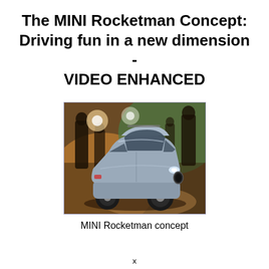The MINI Rocketman Concept: Driving fun in a new dimension - VIDEO ENHANCED
[Figure (photo): Photo of the MINI Rocketman concept car in a dark studio setting with dramatic lighting and silhouettes of people in the background. The car is a small silver/grey hatchback with distinctive MINI styling.]
MINI Rocketman concept